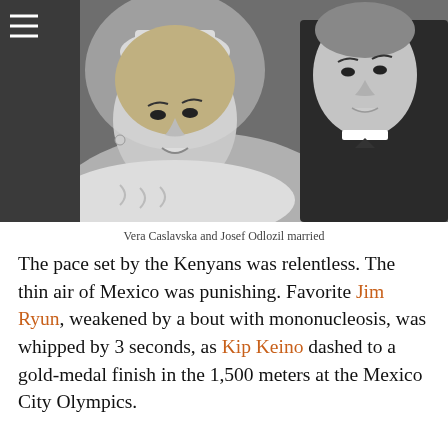[Figure (photo): Black and white wedding photo of Vera Caslavska wearing a tiara and wedding veil, and Josef Odlozil in a tuxedo, both looking sideways.]
Vera Caslavska and Josef Odlozil married
The pace set by the Kenyans was relentless. The thin air of Mexico was punishing. Favorite Jim Ryun, weakened by a bout with mononucleosis, was whipped by 3 seconds, as Kip Keino dashed to a gold-medal finish in the 1,500 meters at the Mexico City Olympics.